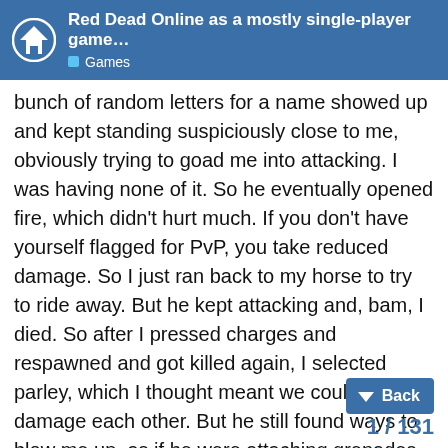Red Dead Online as a mostly single-player game… Games
bunch of random letters for a name showed up and kept standing suspiciously close to me, obviously trying to goad me into attacking. I was having none of it. So he eventually opened fire, which didn't hurt much. If you don't have yourself flagged for PvP, you take reduced damage. So I just ran back to my horse to try to ride away. But he kept attacking and, bam, I died. So after I pressed charges and respawned and got killed again, I selected parley, which I thought meant we couldn't damage each other. But he still found ways to blow me up, as if he were attaching grenades to me or something? He even put me in a cage at one point – apparently you can summon cages in Red Dead Online? – and sprinkled me with some liquid or poison or something that made my character shriek in pain. I had no idea what was going on. I could have easily moved to another instance, but out of curiosity, I stuck it out to see where this was going. Nowhere, obviously, and he eventually got bored and went away. I did, however, lose the grizzly bear skin I was bringing back to camp. That smarted.